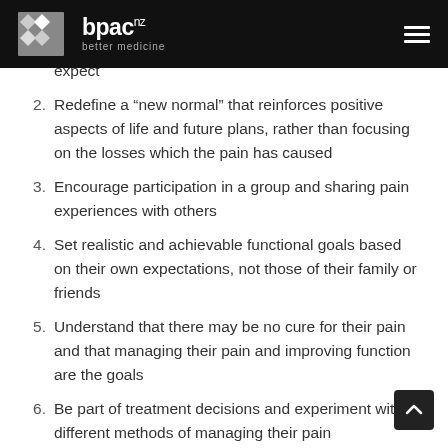bpac nz better medicine
expect
2. Redefine a “new normal” that reinforces positive aspects of life and future plans, rather than focusing on the losses which the pain has caused
3. Encourage participation in a group and sharing pain experiences with others
4. Set realistic and achievable functional goals based on their own expectations, not those of their family or friends
5. Understand that there may be no cure for their pain and that managing their pain and improving function are the goals
6. Be part of treatment decisions and experiment with different methods of managing their pain